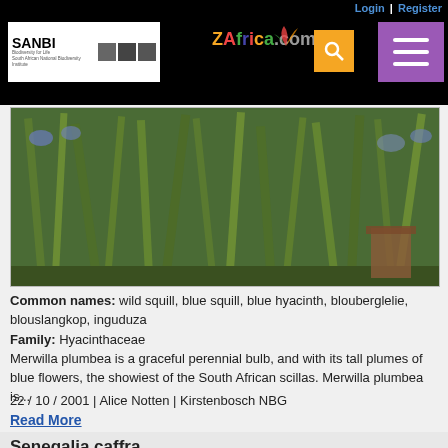Login | Register — PlantZAfrica.com navigation bar with SANBI logo, search, and menu
[Figure (photo): Photograph of Merwilla plumbea plant showing tall green grass-like leaves with blue flowers in background]
Common names: wild squill, blue squill, blue hyacinth, blouberglelie, blouslangkop, inguduza
Family: Hyacinthaceae
Merwilla plumbea is a graceful perennial bulb, and with its tall plumes of blue flowers, the showiest of the South African scillas. Merwilla plumbea is...
22 / 10 / 2001 | Alice Notten | Kirstenbosch NBG
Read More
Senegalia caffra
[Figure (photo): Partial photograph of Senegalia caffra plant showing yellow and blue colors]